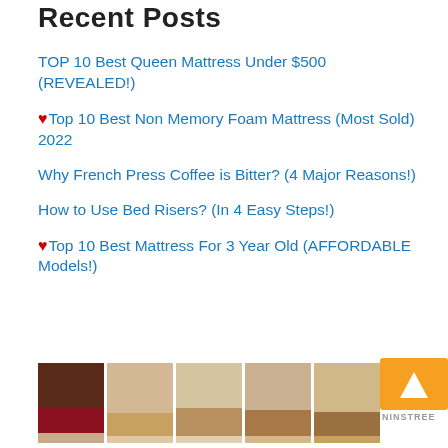Recent Posts
TOP 10 Best Queen Mattress Under $500 (REVEALED!)
❤Top 10 Best Non Memory Foam Mattress (Most Sold) 2022
Why French Press Coffee is Bitter? (4 Major Reasons!)
How to Use Bed Risers? (In 4 Easy Steps!)
❤Top 10 Best Mattress For 3 Year Old (AFFORDABLE Models!)
[Figure (screenshot): Advertisement banner showing women's shoes/heels with NINSTREE branding and orange box with triangle icon]